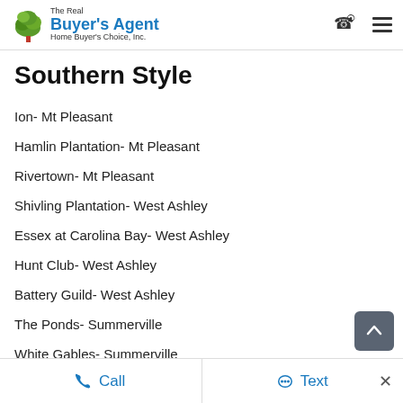The Real Buyer's Agent — Home Buyer's Choice, Inc.
Southern Style
Ion- Mt Pleasant
Hamlin Plantation- Mt Pleasant
Rivertown- Mt Pleasant
Shivling Plantation- West Ashley
Essex at Carolina Bay- West Ashley
Hunt Club- West Ashley
Battery Guild- West Ashley
The Ponds- Summerville
White Gables- Summerville
Rushland Plantation- John's Island
St Johns Crossing- John's Island
Call   Text